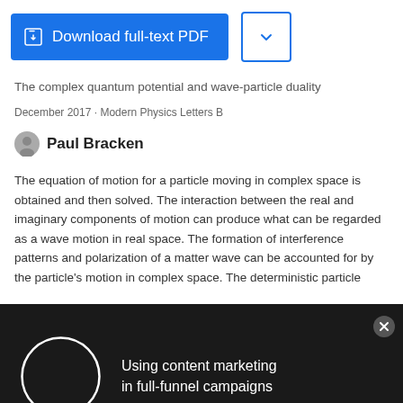[Figure (screenshot): Download full-text PDF button (blue) and dropdown chevron button]
The complex quantum potential and wave-particle duality
December 2017 · Modern Physics Letters B
Paul Bracken
The equation of motion for a particle moving in complex space is obtained and then solved. The interaction between the real and imaginary components of motion can produce what can be regarded as a wave motion in real space. The formation of interference patterns and polarization of a matter wave can be accounted for by the particle's motion in complex space. The deterministic particle
[Figure (infographic): Black advertisement overlay with white circle and text: Using content marketing in full-funnel campaigns, with close X button]
[Figure (infographic): Applied Biosystems advertisement banner with blue infinity logo image and text: Free T-Shirt anyone?]